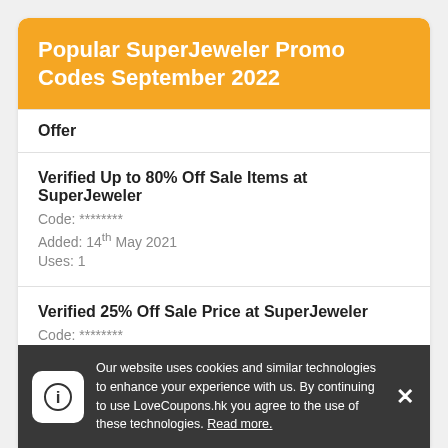Popular SuperJeweler Promo Codes September 2022
| Offer |
| --- |
| Verified Up to 80% Off Sale Items at SuperJeweler
Code: ********
Added: 14th May 2021
Uses: 1 |
| Verified 25% Off Sale Price at SuperJeweler
Code: ********
Added: 11th March 2021 |
Our website uses cookies and similar technologies to enhance your experience with us. By continuing to use LoveCoupons.hk you agree to the use of these technologies. Read more.